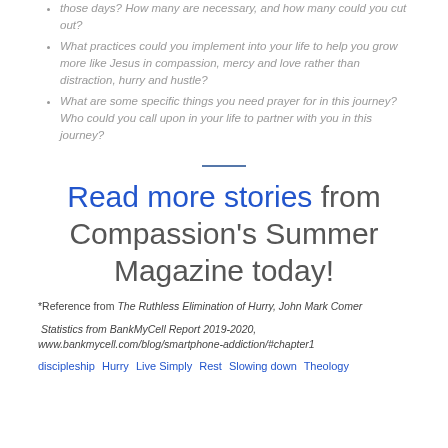those days? How many are necessary, and how many could you cut out?
What practices could you implement into your life to help you grow more like Jesus in compassion, mercy and love rather than distraction, hurry and hustle?
What are some specific things you need prayer for in this journey? Who could you call upon in your life to partner with you in this journey?
Read more stories from Compassion's Summer Magazine today!
*Reference from The Ruthless Elimination of Hurry, John Mark Comer
Statistics from BankMyCell Report 2019-2020, www.bankmycell.com/blog/smartphone-addiction/#chapter1
discipleship  Hurry  Live Simply  Rest  Slowing down  Theology